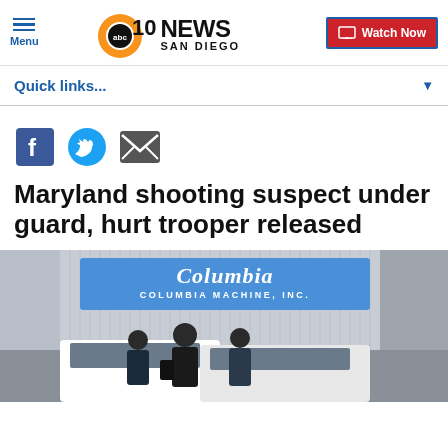ABC 10News San Diego — Menu | Watch Now
Quick links...
[Figure (other): Social share icons: Facebook, Twitter, Email]
Maryland shooting suspect under guard, hurt trooper released
[Figure (photo): Photo of law enforcement officers standing near vehicles outside a building with a Columbia Machine, Inc. sign]